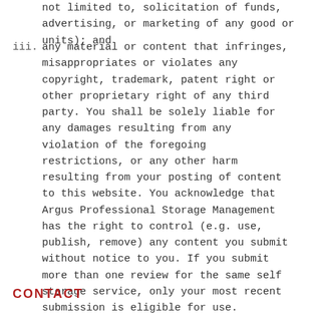not limited to, solicitation of funds, advertising, or marketing of any good or units); and
iii. any material or content that infringes, misappropriates or violates any copyright, trademark, patent right or other proprietary right of any third party. You shall be solely liable for any damages resulting from any violation of the foregoing restrictions, or any other harm resulting from your posting of content to this website. You acknowledge that Argus Professional Storage Management has the right to control (e.g. use, publish, remove) any content you submit without notice to you. If you submit more than one review for the same self storage service, only your most recent submission is eligible for use.
CONTACT